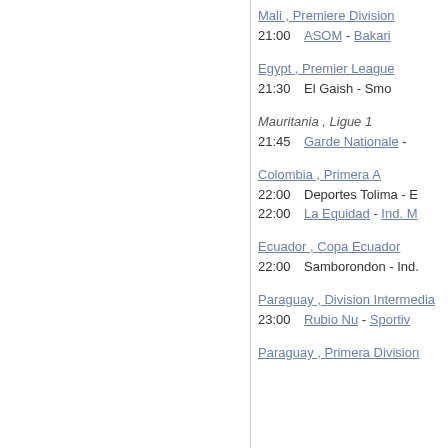Mali , Premiere Division
21:00   ASOM - Bakari
Egypt , Premier League
21:30   El Gaish - Smo
Mauritania , Ligue 1
21:45   Garde Nationale -
Colombia , Primera A
22:00   Deportes Tolima - E
22:00   La Equidad - Ind. M
Ecuador , Copa Ecuador
22:00   Samborondon - Ind.
Paraguay , Division Intermedia
23:00   Rubio Nu - Sportiv
Paraguay , Primera Division